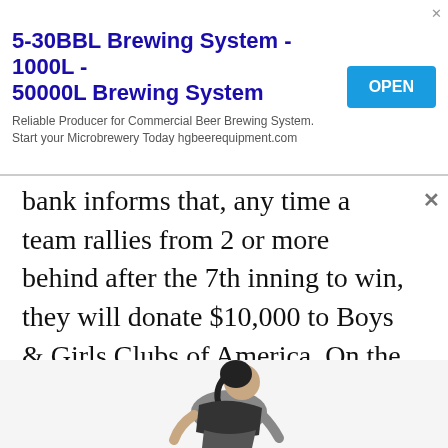[Figure (other): Advertisement banner: '5-30BBL Brewing System - 1000L - 50000L Brewing System' with blue OPEN button. Text: 'Reliable Producer for Commercial Beer Brewing System. Start your Microbrewery Today hgbeerequipment.com']
bank informs that, any time a team rallies from 2 or more behind after the 7th inning to win, they will donate $10,000 to Boys & Girls Clubs of America. On the website, baseball players can purchase a variety of T-shirts created in collaboration with players from all 30 MLB teams, and for each shirt purchased, a donation of $7 will be made to Boys & Girl Clubs of America to support children across local communities – up to $200,000.
[Figure (photo): Partial photo of a woman in athletic wear, leaning forward, visible from approximately waist up, cropped at bottom of page.]